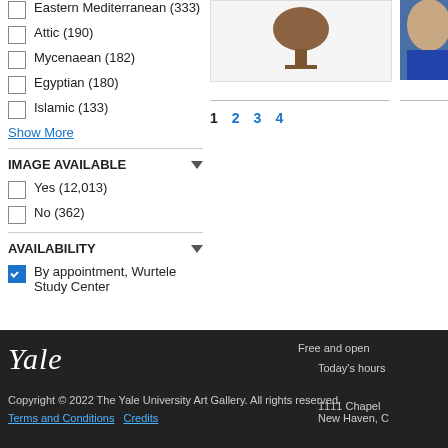Eastern Mediterranean (333)
Attic (190)
Mycenaean (182)
Egyptian (180)
Islamic (133)
Show More
IMAGE AVAILABLE
Yes (12,013)
No (362)
AVAILABILITY
By appointment, Wurtele Study Center
[Figure (photo): Partial view of an artifact on a white background]
[Figure (photo): Partial view of a person or object on blue background]
1  2  3  4
Yale
Copyright © 2022 The Yale University Art Gallery. All rights reserved.
Terms and Conditions  Credits
Free and open
Today's hours
1111 Chapel
New Haven, C